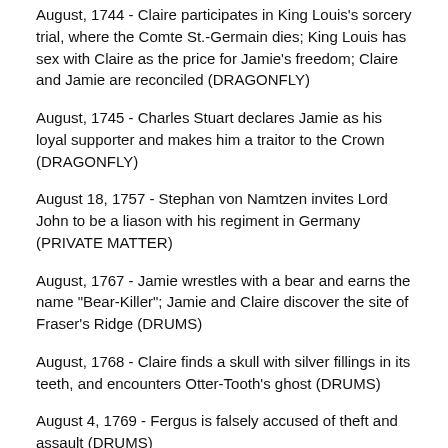August, 1744 - Claire participates in King Louis's sorcery trial, where the Comte St.-Germain dies; King Louis has sex with Claire as the price for Jamie's freedom; Claire and Jamie are reconciled (DRAGONFLY)
August, 1745 - Charles Stuart declares Jamie as his loyal supporter and makes him a traitor to the Crown (DRAGONFLY)
August 18, 1757 - Stephan von Namtzen invites Lord John to be a liason with his regiment in Germany (PRIVATE MATTER)
August, 1767 - Jamie wrestles with a bear and earns the name "Bear-Killer"; Jamie and Claire discover the site of Fraser's Ridge (DRUMS)
August, 1768 - Claire finds a skull with silver fillings in its teeth, and encounters Otter-Tooth's ghost (DRUMS)
August 4, 1769 - Fergus is falsely accused of theft and assault (DRUMS)